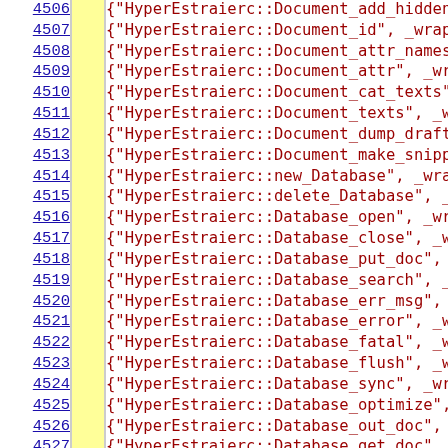| line |  | code |
| --- | --- | --- |
| 4506 |  | {"HyperEstraierc::Document_add_hidden_t |
| 4507 |  | {"HyperEstraierc::Document_id", _wrap_De |
| 4508 |  | {"HyperEstraierc::Document_attr_names", |
| 4509 |  | {"HyperEstraierc::Document_attr", _wrap. |
| 4510 |  | {"HyperEstraierc::Document_cat_texts", |
| 4511 |  | {"HyperEstraierc::Document_texts", _wra |
| 4512 |  | {"HyperEstraierc::Document_dump_draft", |
| 4513 |  | {"HyperEstraierc::Document_make_snippet |
| 4514 |  | {"HyperEstraierc::new_Database", _wrap_ |
| 4515 |  | {"HyperEstraierc::delete_Database", _wr |
| 4516 |  | {"HyperEstraierc::Database_open", _wrap. |
| 4517 |  | {"HyperEstraierc::Database_close", _wra |
| 4518 |  | {"HyperEstraierc::Database_put_doc", _w |
| 4519 |  | {"HyperEstraierc::Database_search", _wr |
| 4520 |  | {"HyperEstraierc::Database_err_msg", _w |
| 4521 |  | {"HyperEstraierc::Database_error", _wra |
| 4522 |  | {"HyperEstraierc::Database_fatal", _wra |
| 4523 |  | {"HyperEstraierc::Database_flush", _wra |
| 4524 |  | {"HyperEstraierc::Database_sync", _wrap. |
| 4525 |  | {"HyperEstraierc::Database_optimize", _w |
| 4526 |  | {"HyperEstraierc::Database_out_doc", _w |
| 4527 |  | {"HyperEstraierc::Database_get_doc", _w |
| 4528 |  | {"HyperEstraierc::Database_uri_to_id |